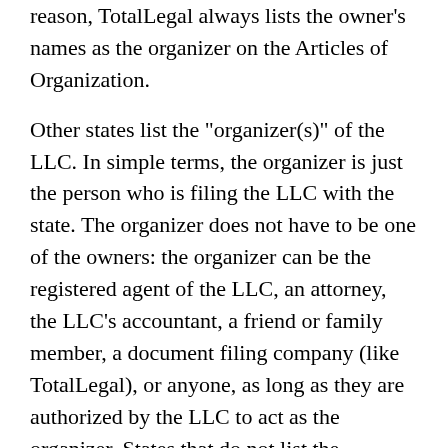reason, TotalLegal always lists the owner's names as the organizer on the Articles of Organization.
Other states list the "organizer(s)" of the LLC. In simple terms, the organizer is just the person who is filing the LLC with the state. The organizer does not have to be one of the owners: the organizer can be the registered agent of the LLC, an attorney, the LLC's accountant, a friend or family member, a document filing company (like TotalLegal), or anyone, as long as they are authorized by the LLC to act as the organizer. States that do not list the member(s) of the LLC, but either list the organizer(s) or require the signature of an organizer or authorized representative are:
Delaware
Georgia
Iowa
Kansas